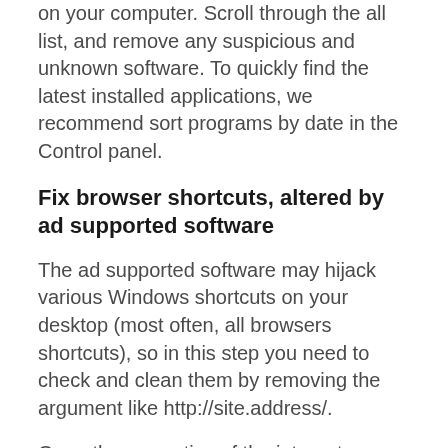on your computer. Scroll through the all list, and remove any suspicious and unknown software. To quickly find the latest installed applications, we recommend sort programs by date in the Control panel.
Fix browser shortcuts, altered by ad supported software
The ad supported software may hijack various Windows shortcuts on your desktop (most often, all browsers shortcuts), so in this step you need to check and clean them by removing the argument like http://site.address/.
Open the properties of the internet browser shortcut. Right click on the shortcut of infected web browser and choose the “Properties” option and it’ll open the properties of the shortcut. Next,